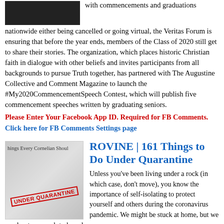[Figure (photo): Dark image thumbnail at top left, partially visible]
with commencements and graduations nationwide either being cancelled or going virtual, the Veritas Forum is ensuring that before the year ends, members of the Class of 2020 still get to share their stories. The organization, which places historic Christian faith in dialogue with other beliefs and invites participants from all backgrounds to pursue Truth together, has partnered with The Augustine Collective and Comment Magazine to launch the #My2020CommencementSpeech Contest, which will publish five commencement speeches written by graduating seniors.
Please Enter Your Facebook App ID. Required for FB Comments. Click here for FB Comments Settings page
[Figure (photo): Book/paper image with text 'Things Every Cornelian Should' and red stamp 'UNDER QUARANTINE']
ROVINE | 161 Things to Do Under Quarantine
Unless you’ve been living under a rock (in which case, don’t move), you know the importance of self-isolating to protect yourself and others during the coronavirus pandemic. We might be stuck at home, but we need not succumb to boredom.